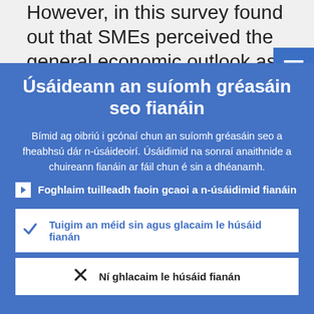However, in this survey found out that SMEs perceived the general economic outlook as an impediment to the availabil of external finance (9%, down from 2%)
Úsáideann an suíomh gréasáin seo fianáin
Bímid ag oibriú i gcónaí chun an suíomh gréasáin seo a fheabhsú dár n-úsáideoirí. Úsáidimid na sonraí anaithnide a chuireann fianáin ar fáil chun é sin a dhéanamh.
Foghlaim tuilleadh faoin gcaoi a n-úsáidimid fianáin
Tuigim an méid sin agus glacaim le húsáid fianán
Ní ghlacaim le húsáid fianán